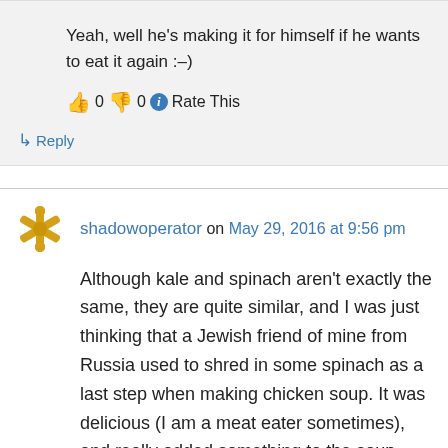Yeah, well he's making it for himself if he wants to eat it again :-)
👍 0 👎 0 ℹ Rate This
↳ Reply
shadowoperator on May 29, 2016 at 9:56 pm
Although kale and spinach aren't exactly the same, they are quite similar, and I was just thinking that a Jewish friend of mine from Russia used to shred in some spinach as a last step when making chicken soup. It was delicious (I am a meat eater sometimes), and really added something to the soup. Maybe your health